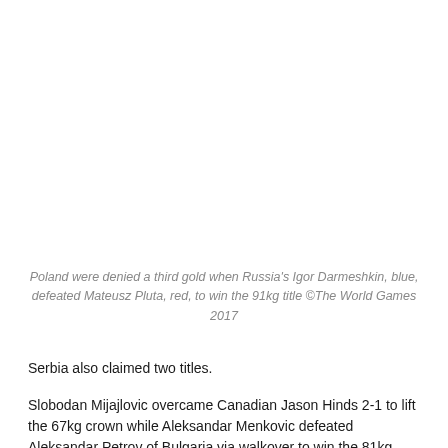Poland were denied a third gold when Russia's Igor Darmeshkin, blue, defeated Mateusz Pluta, red, to win the 91kg title ©The World Games 2017
Serbia also claimed two titles.
Slobodan Mijajlovic overcame Canadian Jason Hinds 2-1 to lift the 67kg crown while Aleksandar Menkovic defeated Aleksandar Petrov of Bulgaria via walkover to win the 81kg gold.